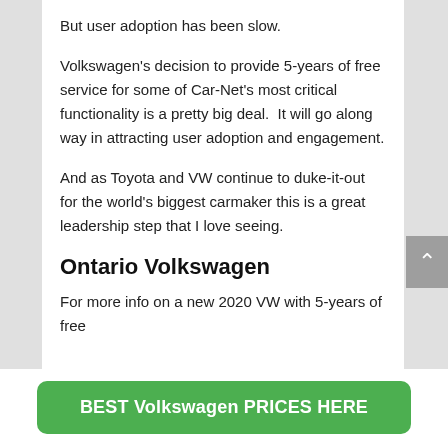But user adoption has been slow.
Volkswagen's decision to provide 5-years of free service for some of Car-Net's most critical functionality is a pretty big deal.  It will go along way in attracting user adoption and engagement.
And as Toyota and VW continue to duke-it-out for the world's biggest carmaker this is a great leadership step that I love seeing.
Ontario Volkswagen
For more info on a new 2020 VW with 5-years of free
BEST Volkswagen PRICES HERE